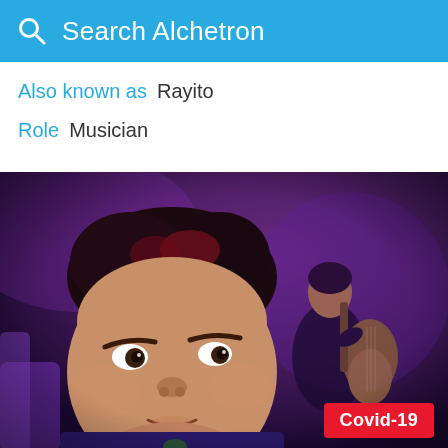Search Alchetron
Also known as  Rayito
Role  Musician
[Figure (photo): A young boy with dark hair looking to the side, with another person playing guitar in the background on a purple-lit stage.]
Covid-19